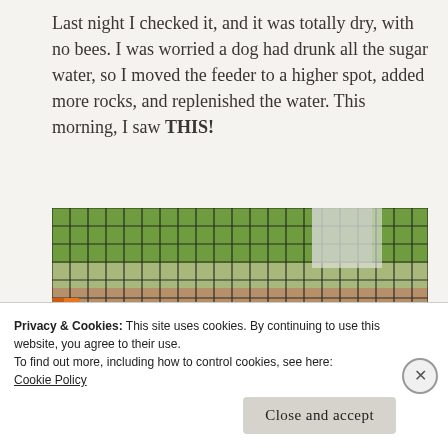Last night I checked it, and it was totally dry, with no bees. I was worried a dog had drunk all the sugar water, so I moved the feeder to a higher spot, added more rocks, and replenished the water. This morning, I saw THIS!
[Figure (photo): Photograph of bees on a feeder inside a wire mesh cage, with green grass visible in the background.]
Privacy & Cookies: This site uses cookies. By continuing to use this website, you agree to their use.
To find out more, including how to control cookies, see here:
Cookie Policy